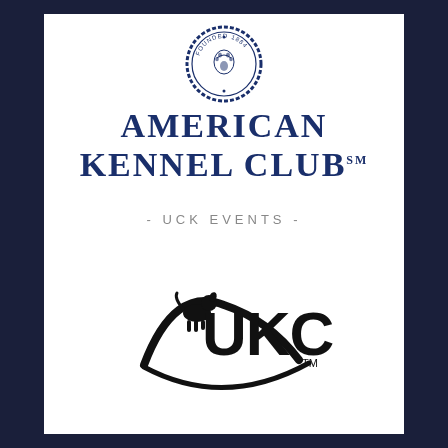[Figure (logo): AKC circular seal logo with 'Founded 1884' text around the border, dark navy blue]
American Kennel Club℠
- UCK EVENTS -
[Figure (logo): UKC logo in black with a dog silhouette and swoosh arc, with ™ mark]